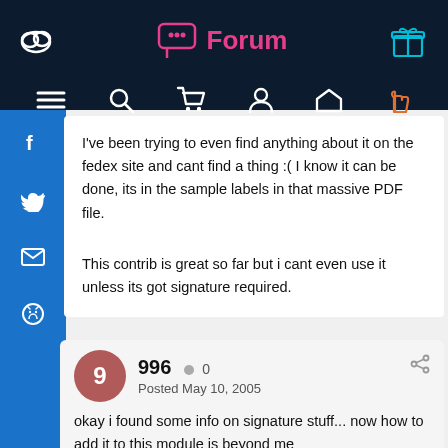Forum
I've been trying to even find anything about it on the fedex site and cant find a thing :( I know it can be done, its in the sample labels in that massive PDF file.
This contrib is great so far but i cant even use it unless its got signature required.
996  0  Posted May 10, 2005
okay i found some info on signature stuff... now how to add it to this module is beyond me